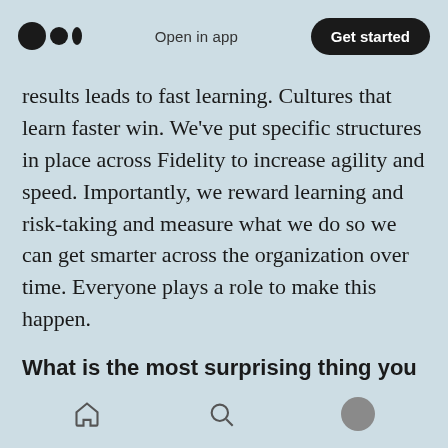Open in app | Get started
results leads to fast learning. Cultures that learn faster win. We've put specific structures in place across Fidelity to increase agility and speed. Importantly, we reward learning and risk-taking and measure what we do so we can get smarter across the organization over time. Everyone plays a role to make this happen.
What is the most surprising thing you have learned about conducting user research? How do you understand and incorporate nonverbal communication from users?
Home | Search | Profile